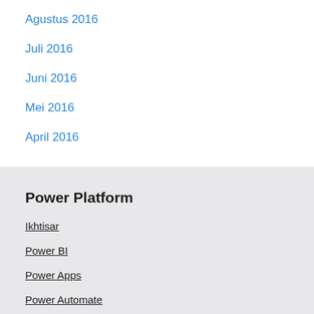Agustus 2016
Juli 2016
Juni 2016
Mei 2016
April 2016
Power Platform
Ikhtisar
Power BI
Power Apps
Power Automate